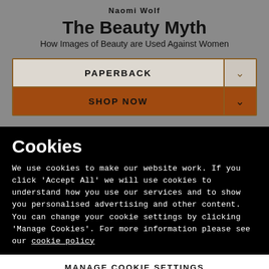Naomi Wolf
The Beauty Myth
How Images of Beauty are Used Against Women
PAPERBACK
SHOP NOW
Cookies
We use cookies to make our website work. If you click 'Accept All' we will use cookies to understand how you use our services and to show you personalised advertising and other content. You can change your cookie settings by clicking 'Manage Cookies'. For more information please see our cookie policy
MANAGE COOKIE SETTINGS
ACCEPT ALL COOKIES